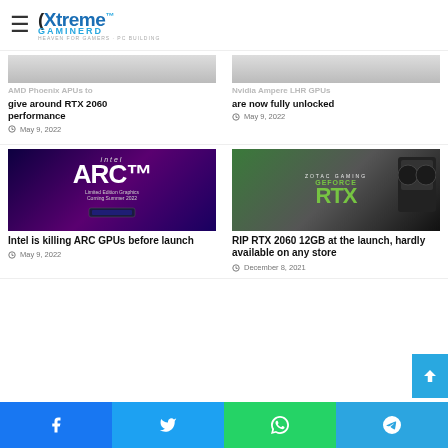[Figure (logo): Xtreme Gaminerd logo with hamburger menu]
AMD Phoenix APUs to give around RTX 2060 performance
May 9, 2022
Nvidia Ampere LHR GPUs are now fully unlocked
May 9, 2022
[Figure (photo): Intel ARC Limited Edition Graphics card promo image with purple/blue gradient background]
Intel is killing ARC GPUs before launch
May 9, 2022
[Figure (photo): Zotac Gaming GeForce RTX GPU box and card product photo]
RIP RTX 2060 12GB at the launch, hardly available on any store
December 8, 2021